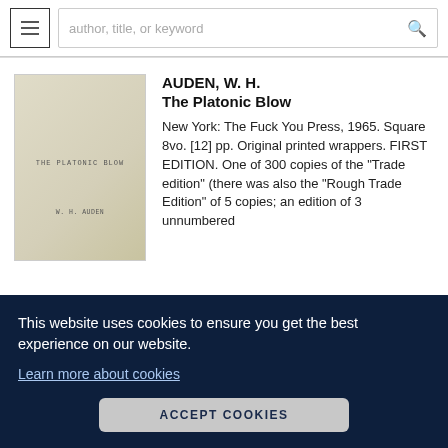author, title, or keyword
[Figure (photo): Book cover of The Platonic Blow by W. H. Auden, beige/cream colored paper wrapper with title and author text]
AUDEN, W. H.
The Platonic Blow
New York: The Fuck You Press, 1965. Square 8vo. [12] pp. Original printed wrappers. FIRST EDITION. One of 300 copies of the "Trade edition" (there was also the "Rough Trade Edition" of 5 copies; an edition of 3 unnumbered
f two
t....
This website uses cookies to ensure you get the best experience on our website.
Learn more about cookies
ACCEPT COOKIES